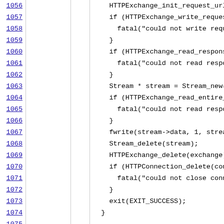[Figure (screenshot): Source code viewer showing line numbers 1056-1078 with code content on the right and author/revision columns. Line 1078 shows author 'siliconforks' and revision '125'.]